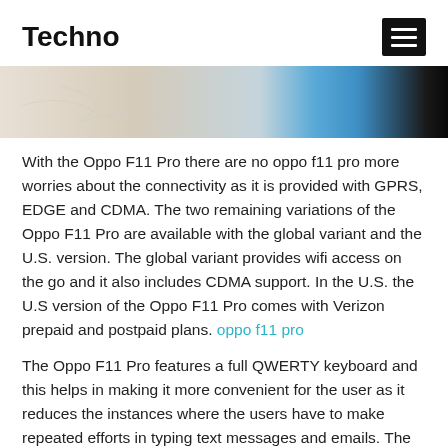Techno
[Figure (photo): Partial view of a phone and coffee cup on a marble surface]
With the Oppo F11 Pro there are no oppo f11 pro more worries about the connectivity as it is provided with GPRS, EDGE and CDMA. The two remaining variations of the Oppo F11 Pro are available with the global variant and the U.S. version. The global variant provides wifi access on the go and it also includes CDMA support. In the U.S. the U.S version of the Oppo F11 Pro comes with Verizon prepaid and postpaid plans. oppo f11 pro
The Oppo F11 Pro features a full QWERTY keyboard and this helps in making it more convenient for the user as it reduces the instances where the users have to make repeated efforts in typing text messages and emails. The